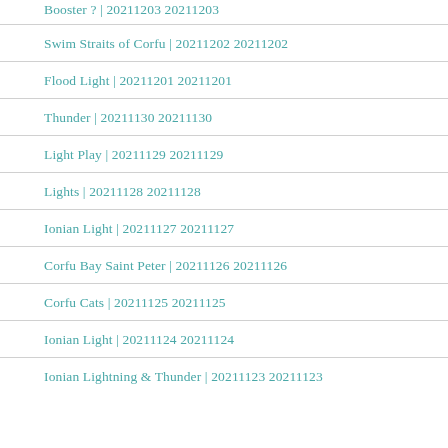Booster ? | 20211203 20211203
Swim Straits of Corfu | 20211202 20211202
Flood Light | 20211201 20211201
Thunder | 20211130 20211130
Light Play | 20211129 20211129
Lights | 20211128 20211128
Ionian Light | 20211127 20211127
Corfu Bay Saint Peter | 20211126 20211126
Corfu Cats | 20211125 20211125
Ionian Light | 20211124 20211124
Ionian Lightning & Thunder | 20211123 20211123